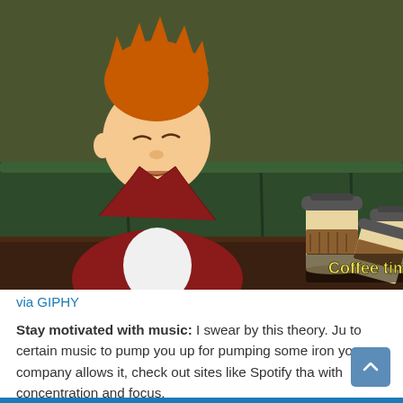[Figure (illustration): Animated still from Futurama showing Fry (orange-haired character in red jacket and white shirt) sitting on a green couch/booth with multiple coffee cups in front of him on a dark table. Text overlay reads 'Coffee time!!' in bold yellow/green outlined font. Background is dark olive green.]
via GIPHY
Stay motivated with music: I swear by this theory. Ju to certain music to pump you up for pumping some iron your company allows it, check out sites like Spotify tha with concentration and focus.